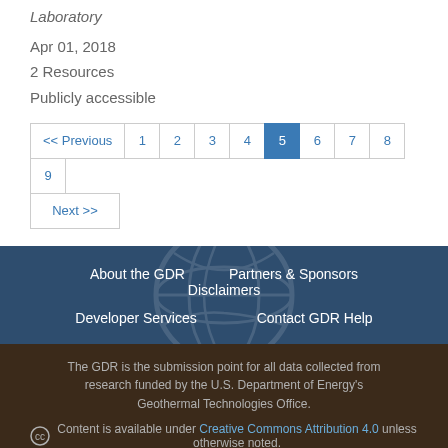Laboratory
Apr 01, 2018
2 Resources
Publicly accessible
<< Previous 1 2 3 4 5 6 7 8 9 Next >>
About the GDR   Partners & Sponsors   Disclaimers   Developer Services   Contact GDR Help
The GDR is the submission point for all data collected from research funded by the U.S. Department of Energy's Geothermal Technologies Office.
Content is available under Creative Commons Attribution 4.0 unless otherwise noted.